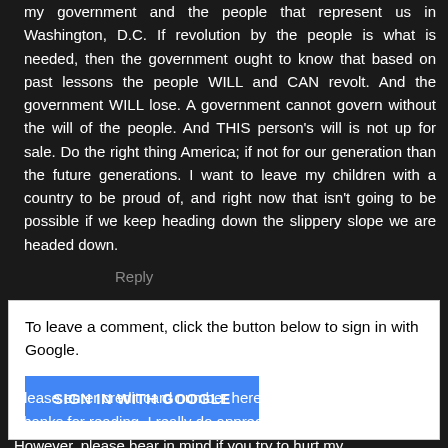my government and the people that represent us in Washington, D.C. If revolution by the people is what is needed, then the government ought to know that based on past lessons the people WILL and CAN revolt. And the government WILL lose. A government cannot govern without the will of the people. And THIS person's will is not up for sale. Do the right thing America; if not for our generation than the future generations. I want to leave my children with a country to be proud of, and right now that isn't going to be possible if we keep heading down the slippery slope we are headed down.
Reply
To leave a comment, click the button below to sign in with Google.
SIGN IN WITH GOOGLE
Please enter credit card number here....
Thanks for reading. I really do appreciate it.
However, please bear in mind if you try to hurt my feelings with your comments, I will crush yours